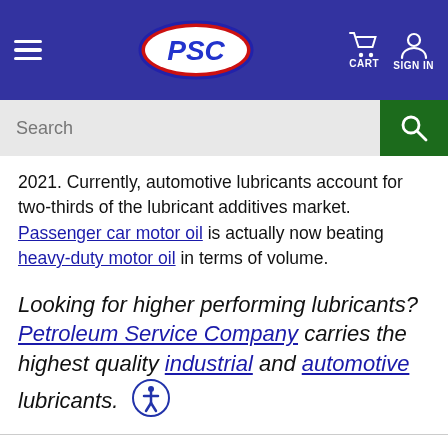PSC — CART  SIGN IN
2021. Currently, automotive lubricants account for two-thirds of the lubricant additives market. Passenger car motor oil is actually now beating heavy-duty motor oil in terms of volume.
Looking for higher performing lubricants? Petroleum Service Company carries the highest quality industrial and automotive lubricants.